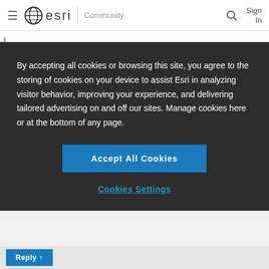esri Community Sign In
Thanks Robert!

Ok one more question sorry if it is getting too much. So I want to bring in my ArcGIS online app
By accepting all cookies or browsing this site, you agree to the storing of cookies on your device to assist Esri in analyzing visitor behavior, improving your experience, and delivering tailored advertising on and off our sites. Manage cookies here or at the bottom of any page.
Accept All Cookies
Cookies Settings